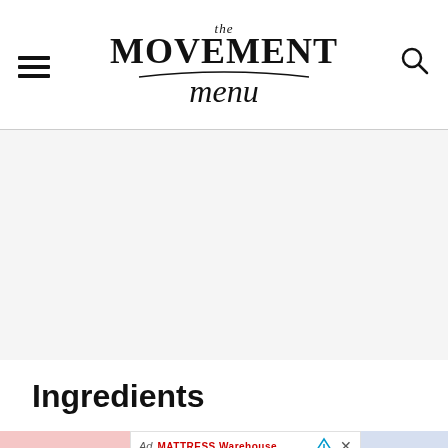the MOVEMENT menu — navigation header with hamburger menu and search icon
[Figure (other): Large gray placeholder content area (advertisement or image placeholder)]
Ingredients
[Figure (other): Mattress Warehouse advertisement banner with logo, 'Shop Now' button, and mattress images]